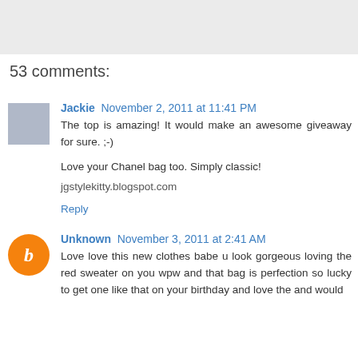[Figure (photo): Gray banner/header image area at top of page]
53 comments:
Jackie  November 2, 2011 at 11:41 PM
The top is amazing! It would make an awesome giveaway for sure. ;-)

Love your Chanel bag too. Simply classic!

jgstylekitty.blogspot.com
Reply
Unknown  November 3, 2011 at 2:41 AM
Love love this new clothes babe u look gorgeous loving the red sweater on you wpw and that bag is perfection so lucky to get one like that on your birthday and love the and would